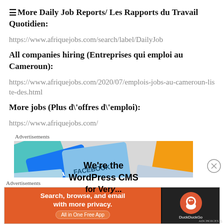More Daily Job Reports/ Les Rapports du Travail Quotidien:
https://www.afriquejobs.com/search/label/DailyJob
All companies hiring (Entreprises qui emploi au Cameroun):
https://www.afriquejobs.com/2020/07/emplois-jobs-au-cameroun-liste-des.html
More jobs (Plus d\'offres d\'emploi):
https://www.afriquejobs.com/
Advertisements
[Figure (screenshot): Advertisement banner for WordPress CMS showing social media brand logos (Meta, Facebook) and text 'We're the WordPress CMS for Very...']
Advertisements
[Figure (screenshot): DuckDuckGo advertisement banner: orange section with 'Search, browse, and email with more privacy. All in One Free App' and dark section with DuckDuckGo logo]